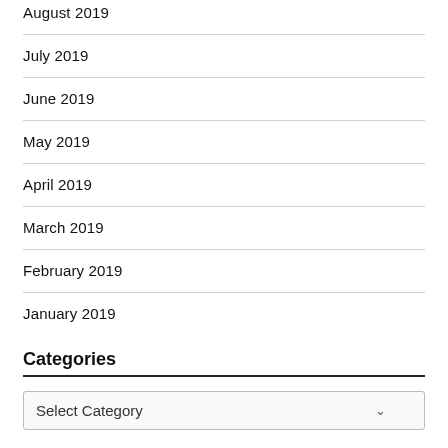August 2019
July 2019
June 2019
May 2019
April 2019
March 2019
February 2019
January 2019
Categories
Select Category